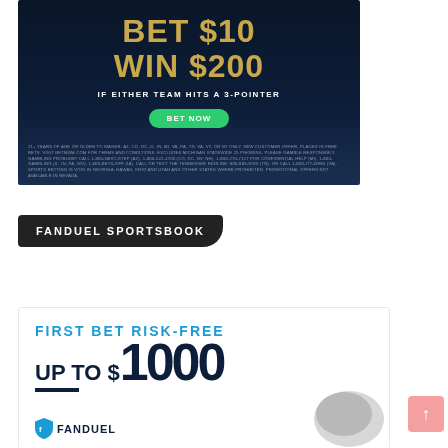[Figure (infographic): Sports betting ad on dark blue background: 'BET $10 WIN $200 IF EITHER TEAM HITS A 3-POINTER' with green BET NOW button and disclaimer text]
FANDUEL SPORTSBOOK
[Figure (infographic): FanDuel Sportsbook ad: 'FIRST BET RISK-FREE UP TO $1000' with FanDuel logo and baseball glove image]